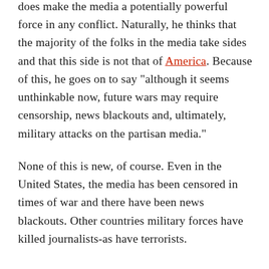does make the media a potentially powerful force in any conflict. Naturally, he thinks that the majority of the folks in the media take sides and that this side is not that of America. Because of this, he goes on to say “although it seems unthinkable now, future wars may require censorship, news blackouts and, ultimately, military attacks on the partisan media.”
None of this is new, of course. Even in the United States, the media has been censored in times of war and there have been news blackouts. Other countries military forces have killed journalists-as have terrorists.